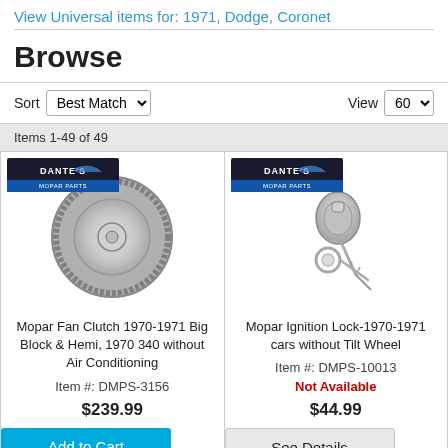View Universal items for: 1971, Dodge, Coronet
Browse
Sort Best Match  View 60
Items 1-49 of 49
[Figure (photo): Mopar Fan Clutch product image with Dante's Mopar Parts logo overlay]
Mopar Fan Clutch 1970-1971 Big Block & Hemi, 1970 340 without Air Conditioning
Item #: DMPS-3156
$239.99
[Figure (photo): Mopar Ignition Lock product image with Dante's Mopar Parts logo overlay]
Mopar Ignition Lock-1970-1971 cars without Tilt Wheel
Item #: DMPS-10013
Not Available
$44.99